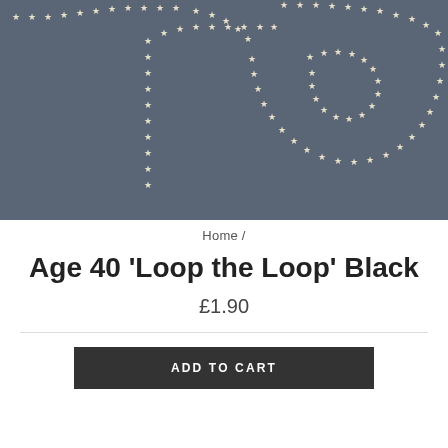[Figure (illustration): A dark slate-blue background with cream/beige five-pointed star shapes arranged in sweeping curved patterns resembling the number 40 or loop designs, partially cropped]
Home /
Age 40 'Loop the Loop' Black
£1.90
ADD TO CART